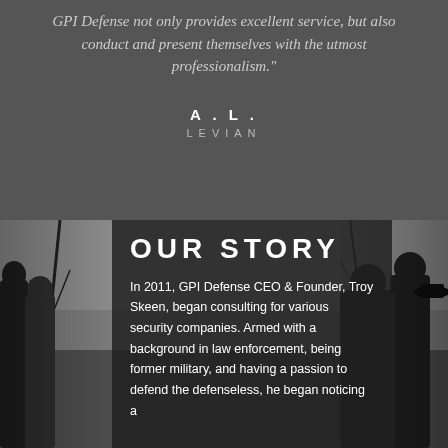GPI Defense not only provides excellent service, but also conduct and present themselves with the utmost professionalism."
A . L .
LEVIAN
[Figure (photo): Black and white photo of a group of people standing outdoors with bare trees in the background. Several individuals in dark clothing are visible.]
OUR STORY
In 2011, GPI Defense CEO & Founder, Troy Skeen, began consulting for various security companies. Armed with a background in law enforcement, being former military, and having a passion to defend the defenseless, he began noticing a